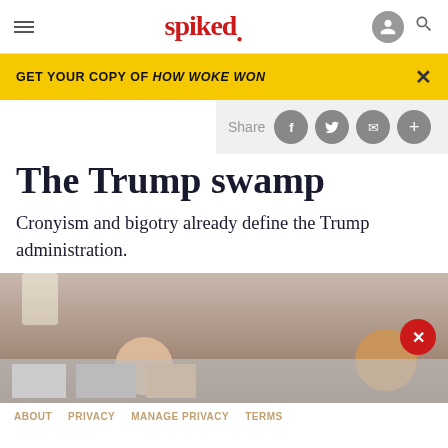spiked
GET YOUR COPY OF HOW WOKE WON
Share
The Trump swamp
Cronyism and bigotry already define the Trump administration.
[Figure (photo): Photo of people at an event, appears to show Donald Trump and others at a formal gathering]
ABOUT   PRIVACY   MANAGE PRIVACY   TERMS